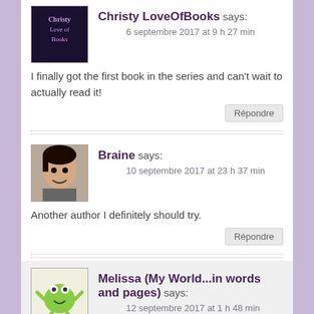Christy LoveOfBooks says: 6 septembre 2017 at 9 h 27 min
I finally got the first book in the series and can't wait to actually read it!
Répondre
Braine says: 10 septembre 2017 at 23 h 37 min
Another author I definitely should try.
Répondre
Melissa (My World...in words and pages) says: 12 septembre 2017 at 1 h 48 min